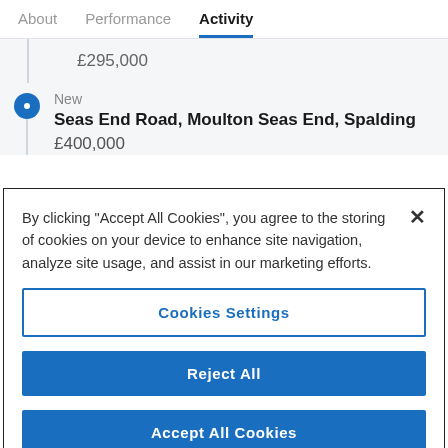About  Performance  Activity
£295,000
New
Seas End Road, Moulton Seas End, Spalding
£400,000
By clicking "Accept All Cookies", you agree to the storing of cookies on your device to enhance site navigation, analyze site usage, and assist in our marketing efforts.
Cookies Settings
Reject All
Accept All Cookies